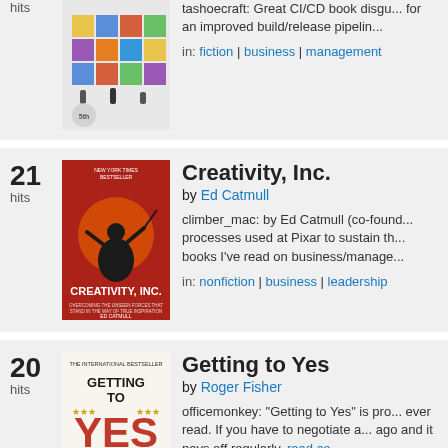hits
[Figure (illustration): Book cover: colorful blocks/cubes illustration (CI/CD book)]
tashoecraft: Great CI/CD book disguised for an improved build/release pipeline
in: fiction | business | management
21 hits
[Figure (illustration): Book cover: Creativity, Inc. by Ed Catmull - red cover with conductor silhouette]
Creativity, Inc.
by Ed Catmull
climber_mac: by Ed Catmull (co-founde... processes used at Pixar to sustain th... books I've read on business/manage...
in: nonfiction | business | leadership
20 hits
[Figure (illustration): Book cover: Getting to Yes by Roger Fisher - white cover with bold red YES text]
Getting to Yes
by Roger Fisher
officemonkey: "Getting to Yes" is pro... ever read. If you have to negotiate a... ago and it pays off regularly. read co...